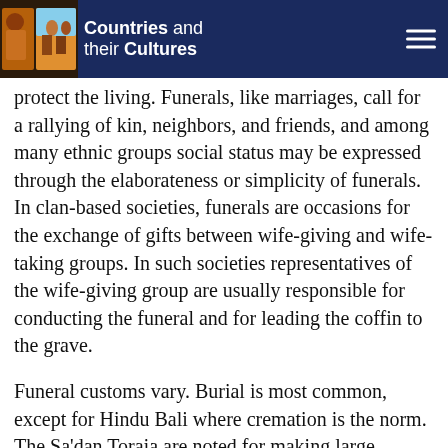Countries and their Cultures
protect the living. Funerals, like marriages, call for a rallying of kin, neighbors, and friends, and among many ethnic groups social status may be expressed through the elaborateness or simplicity of funerals. In clan-based societies, funerals are occasions for the exchange of gifts between wife-giving and wife-taking groups. In such societies representatives of the wife-giving group are usually responsible for conducting the funeral and for leading the coffin to the grave.
Funeral customs vary. Burial is most common, except for Hindu Bali where cremation is the norm. The Sa'dan Toraja are noted for making large wooden effigies of the deceased, which are placed in niches in sheer stone cliffs to guard the tombs. In the past, the Batak made stone sarcophagi for the prominent dead. This practice stopped with Christianization, but in recent decades, prosperous urban Batak have built large stone sarcophagi in their home villages to honor the dead and reestablish a connection otherwise severed by